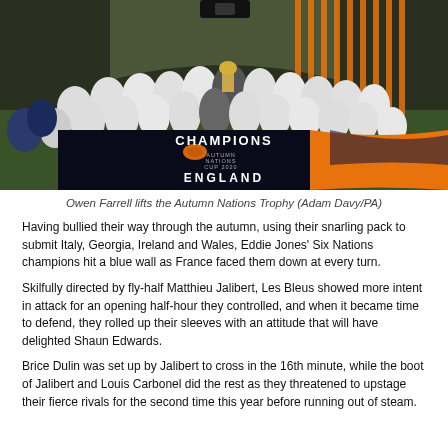[Figure (photo): England rugby team celebrating as Autumn Nations Cup 2020 Champions, with players holding trophy behind a banner reading CHAMPIONS AUTUMN NATIONS CUP 2020 ENGLAND]
Owen Farrell lifts the Autumn Nations Trophy (Adam Davy/PA)
Having bullied their way through the autumn, using their snarling pack to submit Italy, Georgia, Ireland and Wales, Eddie Jones' Six Nations champions hit a blue wall as France faced them down at every turn.
Skilfully directed by fly-half Matthieu Jalibert, Les Bleus showed more intent in attack for an opening half-hour they controlled, and when it became time to defend, they rolled up their sleeves with an attitude that will have delighted Shaun Edwards.
Brice Dulin was set up by Jalibert to cross in the 16th minute, while the boot of Jalibert and Louis Carbonel did the rest as they threatened to upstage their fierce rivals for the second time this year before running out of steam.